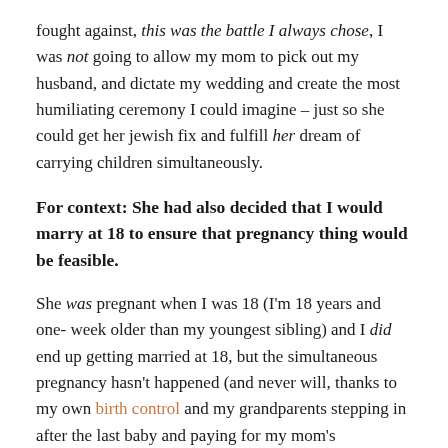fought against, this was the battle I always chose, I was not going to allow my mom to pick out my husband, and dictate my wedding and create the most humiliating ceremony I could imagine – just so she could get her jewish fix and fulfill her dream of carrying children simultaneously.
For context: She had also decided that I would marry at 18 to ensure that pregnancy thing would be feasible.
She was pregnant when I was 18 (I'm 18 years and one-week older than my youngest sibling) and I did end up getting married at 18, but the simultaneous pregnancy hasn't happened (and never will, thanks to my own birth control and my grandparents stepping in after the last baby and paying for my mom's sterilization).